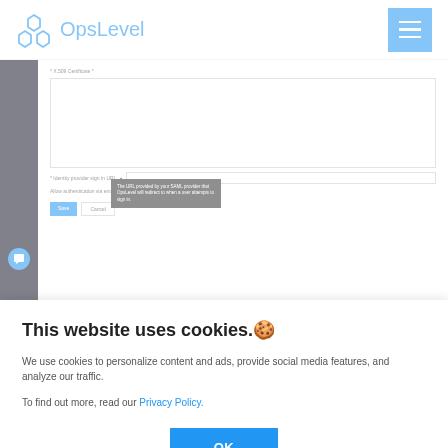OpsLevel
[Figure (screenshot): Screenshot of OpsLevel SAML configuration form showing X.509 Certificate field with a large textarea, a tooltip explaining the URL provided by the SAML provider, an Identity provider sign in URL field, Allow authentication via email/password checkbox (checked), and Save/Cancel buttons.]
7. (Optional) De-selecting Allow authentication
This website uses cookies.🍪
We use cookies to personalize content and ads, provide social media features, and analyze our traffic.
To find out more, read our Privacy Policy.
OK